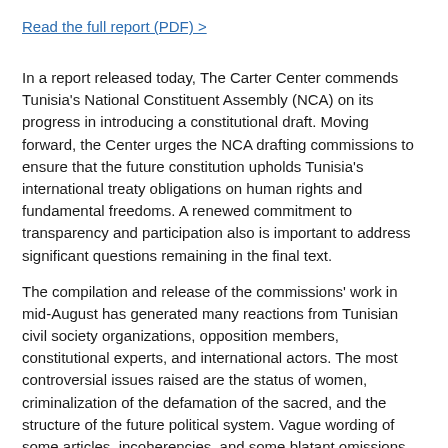Read the full report (PDF) >
In a report released today, The Carter Center commends Tunisia's National Constituent Assembly (NCA) on its progress in introducing a constitutional draft. Moving forward, the Center urges the NCA drafting commissions to ensure that the future constitution upholds Tunisia's international treaty obligations on human rights and fundamental freedoms. A renewed commitment to transparency and participation also is important to address significant questions remaining in the final text.
The compilation and release of the commissions' work in mid-August has generated many reactions from Tunisian civil society organizations, opposition members, constitutional experts, and international actors. The most controversial issues raised are the status of women, criminalization of the defamation of the sacred, and the structure of the future political system. Vague wording of some articles, incoherencies, and some blatant omissions — such as the enshrinement of the right to vote — are regrettable, and should be addressed by the NCA.